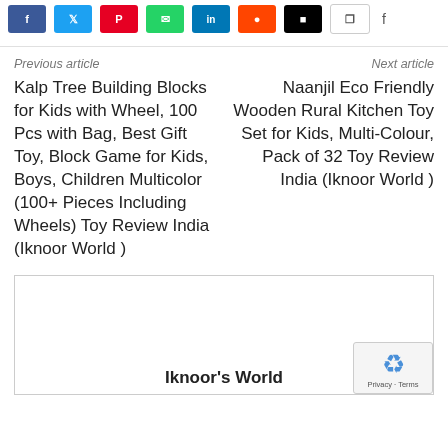[Figure (other): Row of social media share buttons: Facebook (blue), Twitter (cyan), Pinterest (red), WhatsApp (green), LinkedIn (blue), Reddit (orange), another dark button, and a white/share button]
Previous article
Next article
Kalp Tree Building Blocks for Kids with Wheel, 100 Pcs with Bag, Best Gift Toy, Block Game for Kids, Boys, Children Multicolor (100+ Pieces Including Wheels) Toy Review India (Iknoor World )
Naanjil Eco Friendly Wooden Rural Kitchen Toy Set for Kids, Multi-Colour, Pack of 32 Toy Review India (Iknoor World )
[Figure (other): White box area with 'Iknoor's World' title at the bottom center, and a reCAPTCHA badge in the bottom right corner]